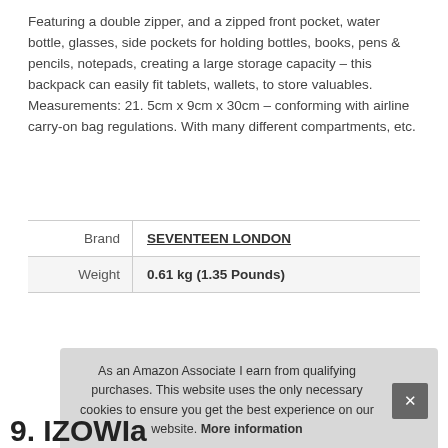Featuring a double zipper, and a zipped front pocket, water bottle, glasses, side pockets for holding bottles, books, pens & pencils, notepads, creating a large storage capacity – this backpack can easily fit tablets, wallets, to store valuables. Measurements: 21. 5cm x 9cm x 30cm – conforming with airline carry-on bag regulations. With many different compartments, etc.
|  |  |
| --- | --- |
| Brand | SEVENTEEN LONDON |
| Weight | 0.61 kg (1.35 Pounds) |
As an Amazon Associate I earn from qualifying purchases. This website uses the only necessary cookies to ensure you get the best experience on our website. More information
9. IZOWIa